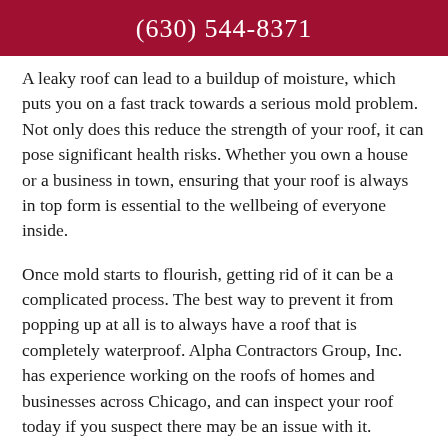(630) 544-8371
A leaky roof can lead to a buildup of moisture, which puts you on a fast track towards a serious mold problem. Not only does this reduce the strength of your roof, it can pose significant health risks. Whether you own a house or a business in town, ensuring that your roof is always in top form is essential to the wellbeing of everyone inside.
Once mold starts to flourish, getting rid of it can be a complicated process. The best way to prevent it from popping up at all is to always have a roof that is completely waterproof. Alpha Contractors Group, Inc. has experience working on the roofs of homes and businesses across Chicago, and can inspect your roof today if you suspect there may be an issue with it.
Affordable Roofing Services